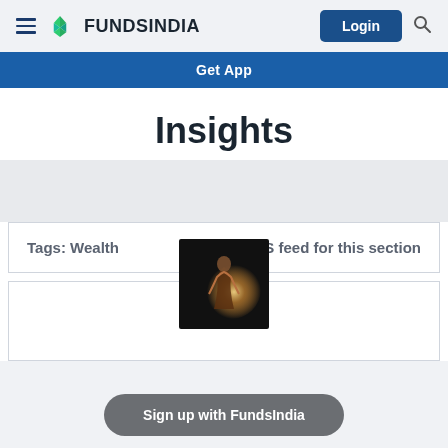[Figure (logo): FundsIndia logo with hamburger menu, teal leaf icon, brand name FUNDSINDIA, Login button, and search icon]
Get App
Insights
Tags: Wealth    RSS feed for this section
[Figure (photo): Dark artistic image of a human figure/statue with glowing light effect]
Sign up with FundsIndia